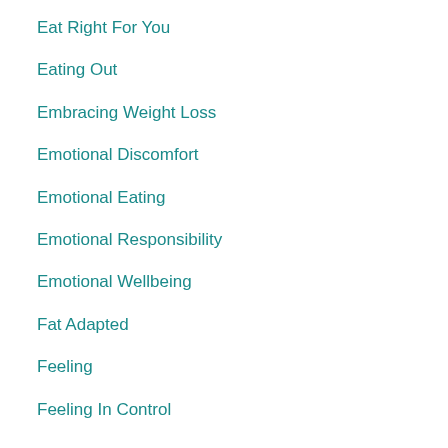Eat Right For You
Eating Out
Embracing Weight Loss
Emotional Discomfort
Emotional Eating
Emotional Responsibility
Emotional Wellbeing
Fat Adapted
Feeling
Feeling In Control